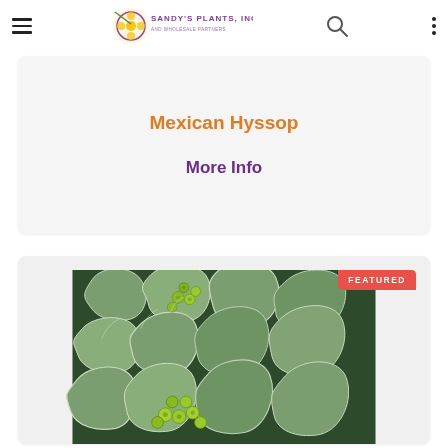Sandy's Plants, Inc. — navigation header with hamburger menu, logo, search icon, and dots menu
Mexican Hyssop
More Info
[Figure (photo): Close-up photograph of a plant with silvery-green lobed leaves and clusters of small yellow-green button flowers, tagged as FEATURED]